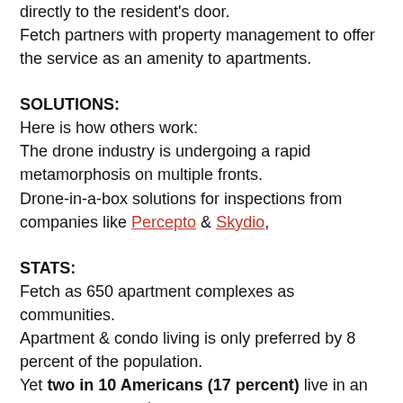directly to the resident's door. Fetch partners with property management to offer the service as an amenity to apartments.
SOLUTIONS:
Here is how others work: The drone industry is undergoing a rapid metamorphosis on multiple fronts. Drone-in-a-box solutions for inspections from companies like Percepto & Skydio,
STATS:
Fetch as 650 apartment complexes as communities.
Apartment & condo living is only preferred by 8 percent of the population.
Yet two in 10 Americans (17 percent) live in an apartment or condo.
Global Online Food Delivery Services Market